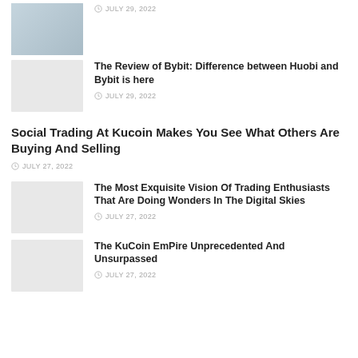[Figure (photo): Thumbnail image at top]
JULY 29, 2022
The Review of Bybit: Difference between Huobi and Bybit is here
JULY 29, 2022
Social Trading At Kucoin Makes You See What Others Are Buying And Selling
JULY 27, 2022
[Figure (photo): Thumbnail image for trading enthusiasts article]
The Most Exquisite Vision Of Trading Enthusiasts That Are Doing Wonders In The Digital Skies
JULY 27, 2022
[Figure (photo): Thumbnail image for KuCoin EmPire article]
The KuCoin EmPire Unprecedented And Unsurpassed
JULY 27, 2022